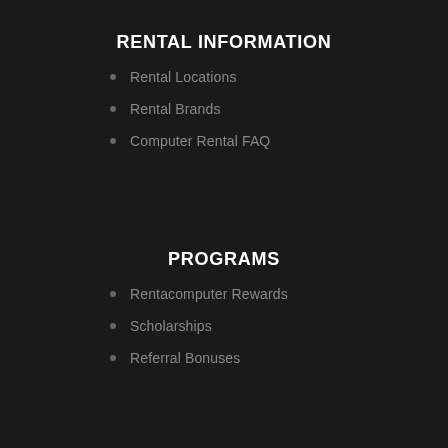RENTAL INFORMATION
Rental Locations
Rental Brands
Computer Rental FAQ
PROGRAMS
Rentacomputer Rewards
Scholarships
Referral Bonuses